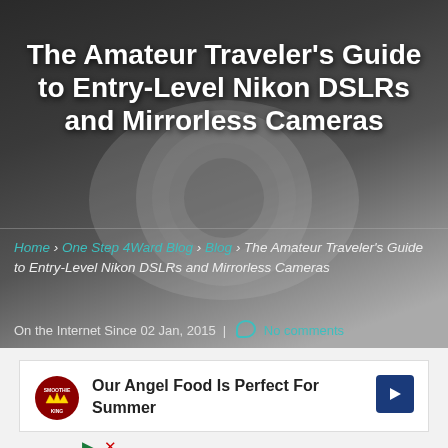[Figure (photo): Top-down view of a white Nikon mirrorless camera (Nikon 1 J4) with 10-30mm VR lens, on a dark gray gradient background]
The Amateur Traveler's Guide to Entry-Level Nikon DSLRs and Mirrorless Cameras
Home › One Step 4Ward Blog › Blog › The Amateur Traveler's Guide to Entry-Level Nikon DSLRs and Mirrorless Cameras
On the Internet Since 02 Jan, 2015 | No comments
[Figure (screenshot): Advertisement: Our Angel Food Is Perfect For Summer - Smoothie King ad with navigation arrow icon]